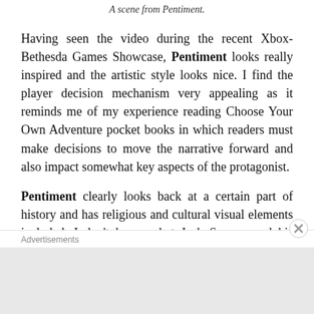A scene from Pentiment.
Having seen the video during the recent Xbox-Bethesda Games Showcase, Pentiment looks really inspired and the artistic style looks nice. I find the player decision mechanism very appealing as it reminds me of my experience reading Choose Your Own Adventure pocket books in which readers must make decisions to move the narrative forward and also impact somewhat key aspects of the protagonist.
Pentiment clearly looks back at a certain part of history and has religious and cultural visual elements included. I don't know what Josh Sawyer and his team think about religion nor
Advertisements